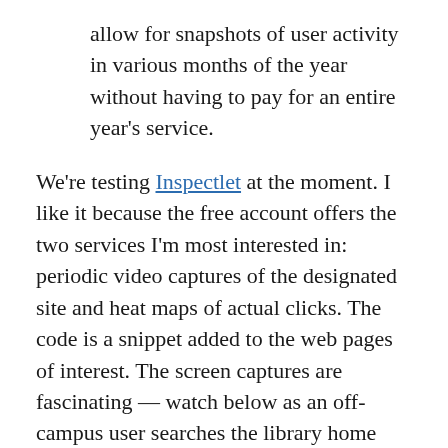allow for snapshots of user activity in various months of the year without having to pay for an entire year's service.
We're testing Inspectlet at the moment. I like it because the free account offers the two services I'm most interested in: periodic video captures of the designated site and heat maps of actual clicks. The code is a snippet added to the web pages of interest. The screen captures are fascinating — watch below as an off-campus user searches the library home page for the correct place to do an author search in the library catalog. I view it as a bit of a cautionary illustration about providing a lot of options. Follow the yellow “spotlight” to track the